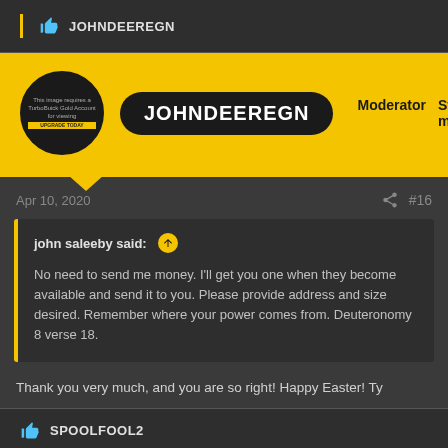JOHNDEEREGN
JOHNDEEREGN Moderator Staff member
Apr 10, 2020 #16
john saleeby said: No need to send me money. I'll get you one when they become available and send it to you. Please provide address and size desired. Remember where your power comes from. Deuteronomy 8 verse 18.
Thank you very much, and you are so right! Happy Easter! Ty
SPOOLFOOL2